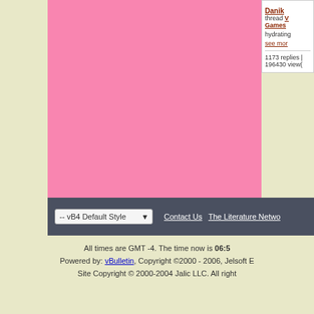[Figure (screenshot): Forum post card with sloth avatar for user Danik, thread in Games section, 'hydrating' snippet, see more link, 1173 replies 196430 views]
[Figure (screenshot): Forum post card with default avatar placeholder for user PeterL, thread in Games section, 'hydroxy' snippet, see more link, 1173 replies 196430 views]
[Figure (screenshot): Partial gray card at bottom of right panel]
-- vB4 Default Style   Contact Us   The Literature Netwo...
All times are GMT -4. The time now is 06:5
Powered by: vBulletin, Copyright ©2000 - 2006, Jelsoft E
Site Copyright © 2000-2004 Jalic LLC. All right